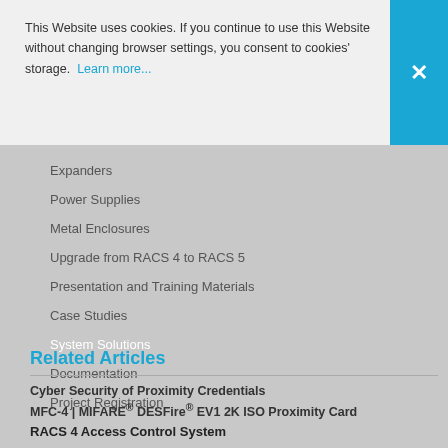This Website uses cookies. If you continue to use this Website without changing browser settings, you consent to cookies' storage. Learn more...
Expanders
Power Supplies
Metal Enclosures
Upgrade from RACS 4 to RACS 5
Presentation and Training Materials
Case Studies
System Solutions
Documentation
Project Registration
RACS 4 Access Control System
Auxiliary Equipment for RACS 5 & RACS 4
Standalone Access Control
Related Articles
Cyber Security of Proximity Credentials
MFC-4 | MIFARE® DESFire® EV1 2K ISO Proximity Card